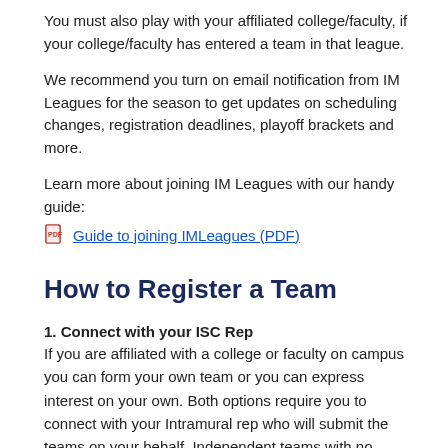You must also play with your affiliated college/faculty, if your college/faculty has entered a team in that league.
We recommend you turn on email notification from IM Leagues for the season to get updates on scheduling changes, registration deadlines, playoff brackets and more.
Learn more about joining IM Leagues with our handy guide:
Guide to joining IMLeagues (PDF)
How to Register a Team
1. Connect with your ISC Rep
If you are affiliated with a college or faculty on campus you can form your own team or you can express interest on your own. Both options require you to connect with your Intramural rep who will submit the teams on your behalf. Independent teams with no affiliation please refer to #3 below.